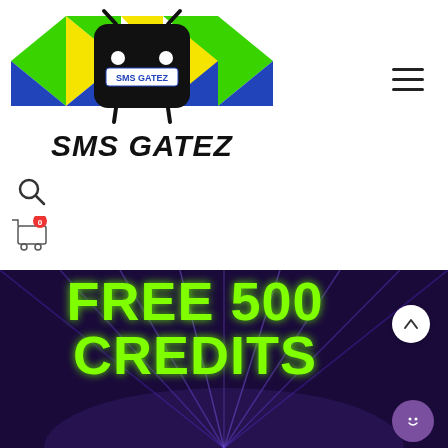[Figure (logo): SMS GATEZ logo — android robot head with colorful triangles (green, yellow, blue) and 'SMS GATEZ' text below in black bold italic font]
[Figure (other): Hamburger menu icon — three horizontal black lines]
[Figure (other): Search magnifying glass icon]
[Figure (other): Shopping cart icon with red badge showing 0]
[Figure (other): Dark purple banner with laser/ray background and large yellow-green bold text reading 'FREE 500 CREDITS']
[Figure (other): White circle button with upward arrow (scroll to top)]
[Figure (other): Purple circle chat button with smiley face icon]